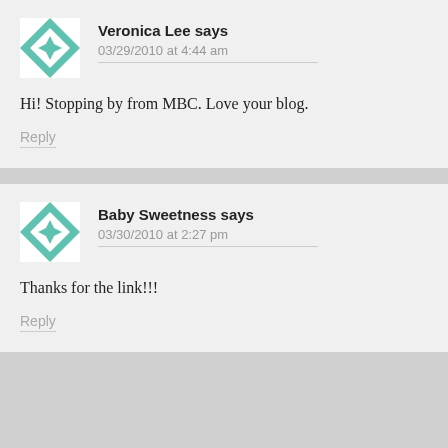Veronica Lee says
03/29/2010 at 4:44 am
Hi! Stopping by from MBC. Love your blog.
Reply
Baby Sweetness says
03/30/2010 at 2:27 pm
Thanks for the link!!!
Reply